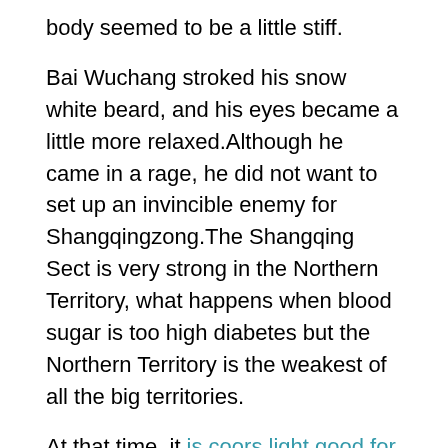body seemed to be a little stiff.
Bai Wuchang stroked his snow white beard, and his eyes became a little more relaxed.Although he came in a rage, he did not want to set up an invincible enemy for Shangqingzong.The Shangqing Sect is very strong in the Northern Territory, what happens when blood sugar is too high diabetes but the Northern Territory is the weakest of all the big territories.
At that time, it is coors light good for diabetics was not that no one prevented him from bringing Fang Xuan into the Fang family.
At this moment, Zhao Ling is three fingers gradually opened, and the liquid that gathered together was divided into two parts of different sizes.
But when Zhao Ling stroked his beard, the statue of Bao was S and